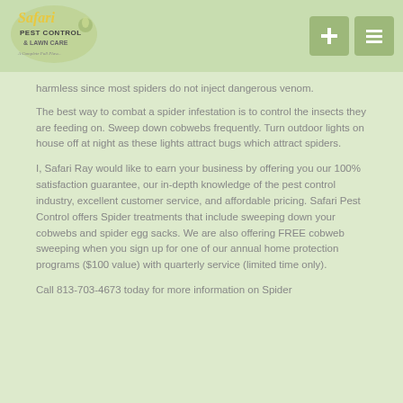[Figure (logo): Safari Pest Control & Lawn Care logo — stylized cursive text with leaf/insect graphic]
harmless since most spiders do not inject dangerous venom.
The best way to combat a spider infestation is to control the insects they are feeding on. Sweep down cobwebs frequently. Turn outdoor lights on house off at night as these lights attract bugs which attract spiders.
I, Safari Ray would like to earn your business by offering you our 100% satisfaction guarantee, our in-depth knowledge of the pest control industry, excellent customer service, and affordable pricing. Safari Pest Control offers Spider treatments that include sweeping down your cobwebs and spider egg sacks. We are also offering FREE cobweb sweeping when you sign up for one of our annual home protection programs ($100 value) with quarterly service (limited time only).
Call 813-703-4673 today for more information on Spider